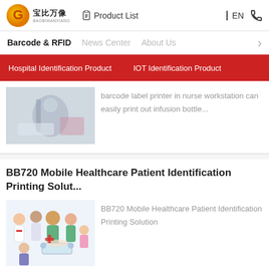宝比万像 BAOBIWANXIANG | Product List | EN
Barcode & RFID | News Center | About Us
Hospital Identification Product | IOT Identification Product
barcode label printer in nurse workstation can easily print out infusion bottle...
BB720 Mobile Healthcare Patient Identification Printing Solut...
BB720 Mobile Healthcare Patient Identification Printing Solution